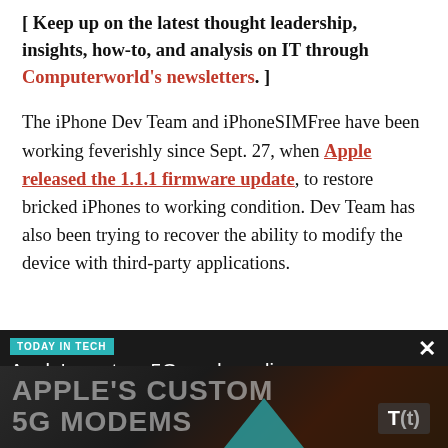[ Keep up on the latest thought leadership, insights, how-to, and analysis on IT through Computerworld's newsletters. ]
The iPhone Dev Team and iPhoneSIMFree have been working feverishly since Sept. 27, when Apple released the 1.1.1 firmware update, to restore bricked iPhones to working condition. Dev Team has also been trying to recover the ability to modify the device with third-party applications.
[Figure (screenshot): TODAY IN TECH advertisement banner showing 'Apple's custom 5G modems li...' headline with dark background and large text 'APPLE'S CUSTOM 5G MODEMS']